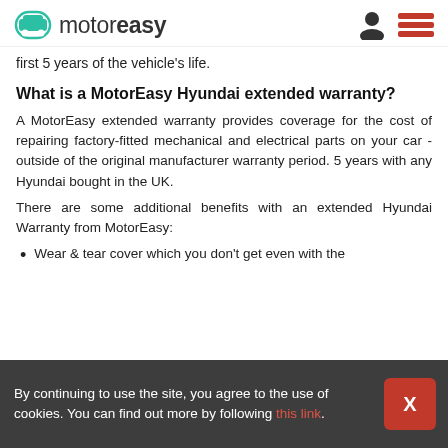motoreasy
first 5 years of the vehicle's life.
What is a MotorEasy Hyundai extended warranty?
A MotorEasy extended warranty provides coverage for the cost of repairing factory-fitted mechanical and electrical parts on your car - outside of the original manufacturer warranty period. 5 years with any Hyundai bought in the UK.
There are some additional benefits with an extended Hyundai Warranty from MotorEasy:
Wear & tear cover which you don't get even with the original Hyundai warranty.
By continuing to use the site, you agree to the use of cookies. You can find out more by following this link.